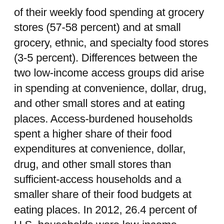of their weekly food spending at grocery stores (57-58 percent) and at small grocery, ethnic, and specialty food stores (3-5 percent). Differences between the two low-income access groups did arise in spending at convenience, dollar, drug, and other small stores and at eating places. Access-burdened households spent a higher share of their food expenditures at convenience, dollar, drug, and other small stores than sufficient-access households and a smaller share of their food budgets at eating places. In 2012, 26.4 percent of U.S. households were low-income sufficient-access households and 4.7 percent were low-income access-burdened. This chart is from "Distance to Grocery Stores and Vehicle Access Influence Food Spending by Low-Income Households at Convenience Stores," in the March 2018 issue of ERS's Amber Waves magazine.